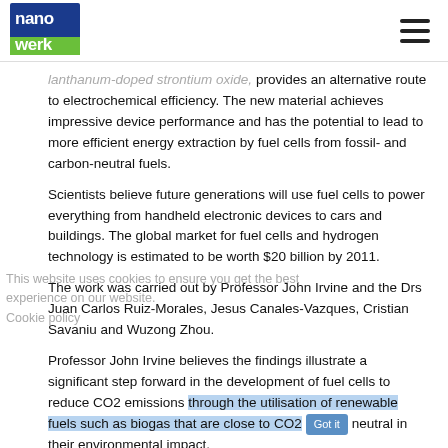nanowerk [logo] [hamburger menu]
lanthanum-doped strontium oxide, provides an alternative route to electrochemical efficiency. The new material achieves impressive device performance and has the potential to lead to more efficient energy extraction by fuel cells from fossil- and carbon-neutral fuels.
Scientists believe future generations will use fuel cells to power everything from handheld electronic devices to cars and buildings. The global market for fuel cells and hydrogen technology is estimated to be worth $20 billion by 2011.
The work was carried out by Professor John Irvine and the Drs Juan Carlos Ruiz-Morales, Jesus Canales-Vazques, Cristian Savaniu and Wuzong Zhou.
Professor John Irvine believes the findings illustrate a significant step forward in the development of fuel cells to reduce CO2 emissions through the utilisation of renewable fuels such as biogas that are close to CO2 neutral in their environmental impact.